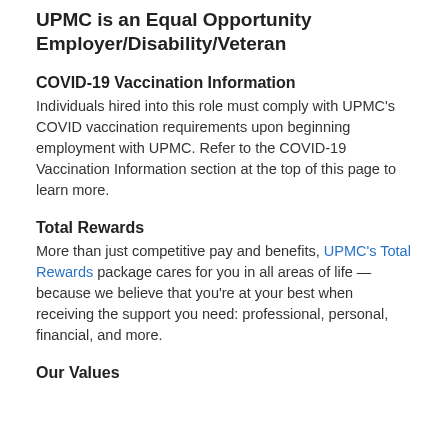UPMC is an Equal Opportunity Employer/Disability/Veteran
COVID-19 Vaccination Information
Individuals hired into this role must comply with UPMC's COVID vaccination requirements upon beginning employment with UPMC. Refer to the COVID-19 Vaccination Information section at the top of this page to learn more.
Total Rewards
More than just competitive pay and benefits, UPMC's Total Rewards package cares for you in all areas of life — because we believe that you're at your best when receiving the support you need: professional, personal, financial, and more.
Our Values